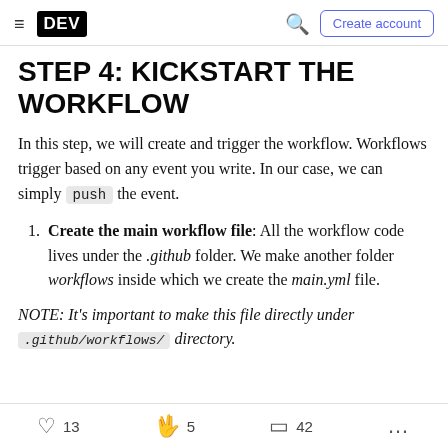DEV | Create account
STEP 4: KICKSTART THE WORKFLOW
In this step, we will create and trigger the workflow. Workflows trigger based on any event you write. In our case, we can simply push the event.
Create the main workflow file: All the workflow code lives under the .github folder. We make another folder workflows inside which we create the main.yml file.
NOTE: It's important to make this file directly under .github/workflows/ directory.
13   5   42   ...